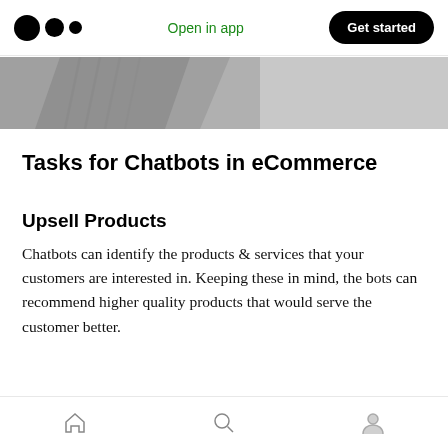Open in app | Get started
[Figure (photo): Partial grayscale image of machinery or mechanical components, cropped at top of article]
Tasks for Chatbots in eCommerce
Upsell Products
Chatbots can identify the products & services that your customers are interested in. Keeping these in mind, the bots can recommend higher quality products that would serve the customer better.
This helps you and your customers as they pay a
Home | Search | Profile